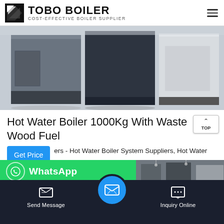TOBO BOILER — COST-EFFECTIVE BOILER SUPPLIER
[Figure (photo): Industrial boilers in a factory/warehouse setting, showing dark navy and light grey/white rectangular boiler units on a concrete floor.]
Hot Water Boiler 1000Kg With Waste Wood Fuel
ers - Hot Water Boiler System Suppliers, Hot Water acturers … 1) Hot water available just within 5-10 Min. 2) Easy installation anywhere 3) Easy to fitting 4) Use of any agro waste can be used as fuel, like wood, charcoal, stems of an…
[Figure (photo): Partial view of industrial boiler equipment or machinery in a warehouse, bottom-right of page.]
Send Message | Inquiry Online